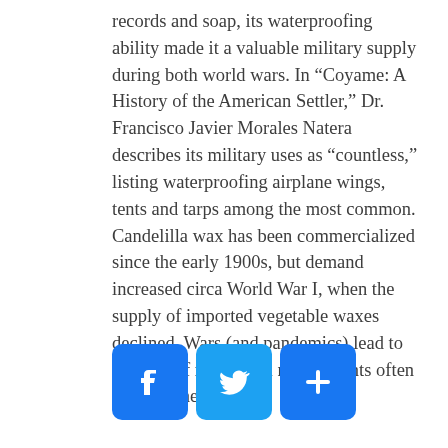records and soap, its waterproofing ability made it a valuable military supply during both world wars. In “Coyame: A History of the American Settler,” Dr. Francisco Javier Morales Natera describes its military uses as “countless,” listing waterproofing airplane wings, tents and tarps among the most common. Candelilla wax has been commercialized since the early 1900s, but demand increased circa World War I, when the supply of imported vegetable waxes declined. Wars (and pandemics) lead to all sorts of needs, and native plants often come to the rescue.
[Figure (other): Three social sharing buttons: Facebook (blue with 'f' logo), Twitter (blue with bird logo), and a share/plus button (blue with '+' icon)]